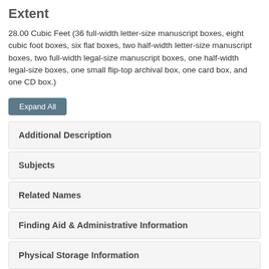Extent
28.00 Cubic Feet (36 full-width letter-size manuscript boxes, eight cubic foot boxes, six flat boxes, two half-width letter-size manuscript boxes, two full-width legal-size manuscript boxes, one half-width legal-size boxes, one small flip-top archival box, one card box, and one CD box.)
Expand All
Additional Description
Subjects
Related Names
Finding Aid & Administrative Information
Physical Storage Information
Repository Details